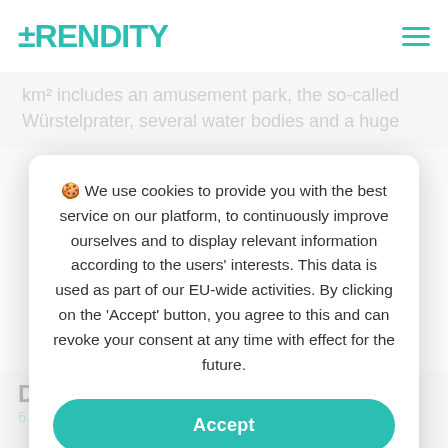RENDITY
km² includes an amusement park, the so-called Würstelprater, several water bodies and a huge
🍪 We use cookies to provide you with the best service on our platform, to continuously improve ourselves and to display relevant information according to the users' interests. This data is used as part of our EU-wide activities. By clicking on the 'Accept' button, you agree to this and can revoke your consent at any time with effect for the future.
Accept
Privacy policy
D
6.0% p.a. / 10 months